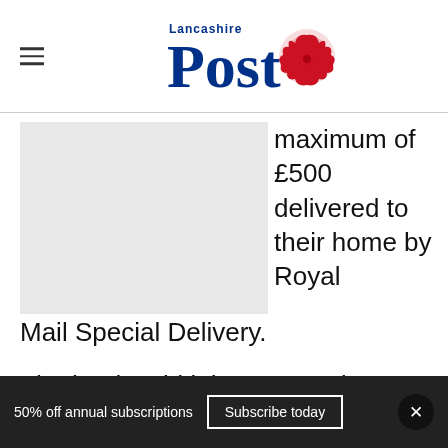Lancashire Post
[Figure (photo): Image placeholder — grey rectangle]
maximum of £500 delivered to their home by Royal Mail Special Delivery.
The bank said it has created a contact centre process to help identify which customers might benefit.
50% off annual subscriptions
Subscribe today